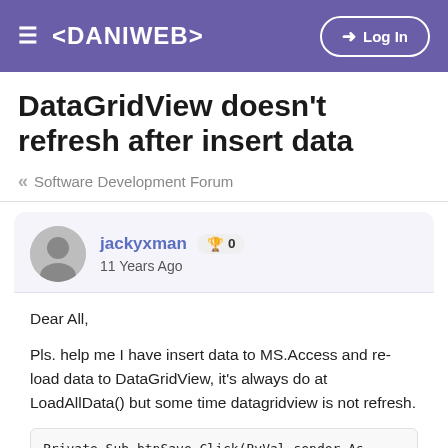≡ <DANIWEB>   → Log In
DataGridView doesn't refresh after insert data
« Software Development Forum
jackyxman 🏆 0
11 Years Ago
Dear All,

Pls. help me I have insert data to MS.Access and re-load data to DataGridView, it's always do at LoadAllData() but some time datagridview is not refresh.
Private Sub btnSave_Click(ByVal sender As System.Object, ByVal e As System.EventArgs)